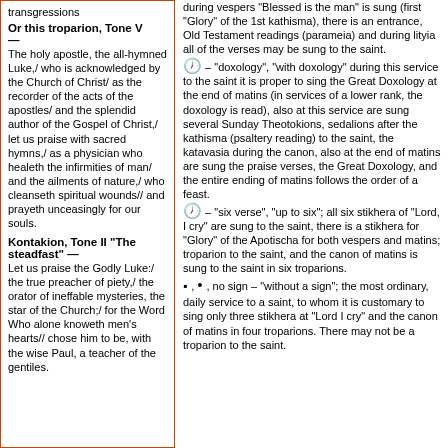transgressions
Or this troparion, Tone V —
The holy apostle, the all-hymned Luke,/ who is acknowledged by the Church of Christ/ as the recorder of the acts of the apostles/ and the splendid author of the Gospel of Christ,/ let us praise with sacred hymns,/ as a physician who healeth the infirmities of man/ and the ailments of nature,/ who cleanseth spiritual wounds// and prayeth unceasingly for our souls.
Kontakion, Tone II "The steadfast" —
Let us praise the Godly Luke:/ the true preacher of piety,/ the orator of ineffable mysteries, the star of the Church;/ for the Word Who alone knoweth men's hearts// chose him to be, with the wise Paul, a teacher of the gentiles.
during vespers "Blessed is the man" is sung (first "Glory" of the 1st kathisma), there is an entrance, Old Testament readings (parameia) and during lityia all of the verses may be sung to the saint.
– "doxology", "with doxology" during this service to the saint it is proper to sing the Great Doxology at the end of matins (in services of a lower rank, the doxology is read), also at this service are sung several Sunday Theotokions, sedalions after the kathisma (psaltery reading) to the saint, the katavasia during the canon, also at the end of matins are sung the praise verses, the Great Doxology, and the entire ending of matins follows the order of a feast.
– "six verse", "up to six"; all six stikhera of "Lord, I cry" are sung to the saint, there is a stikhera for "Glory" of the Apotischa for both vespers and matins; troparion to the saint, and the canon of matins is sung to the saint in six troparions.
▪ , • , no sign – "without a sign"; the most ordinary, daily service to a saint, to whom it is customary to sing only three stikhera at "Lord I cry" and the canon of matins in four troparions. There may not be a troparion to the saint.